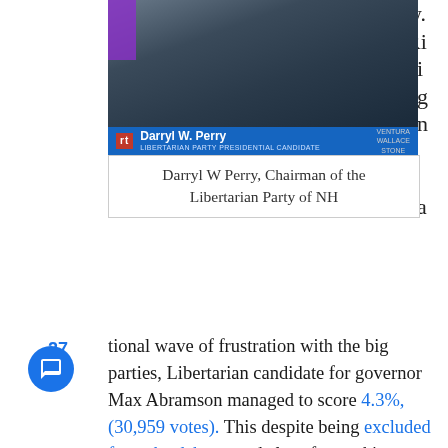[Figure (photo): TV screenshot of Darryl W. Perry on RT (Russia Today) news channel, identified as Libertarian Party Presidential Candidate. Blue lower-third banner with name. Ventura/Wallace/Stone branding in top right.]
Darryl W Perry, Chairman of the Libertarian Party of NH
w. Riding on a national wave of frustration with the big parties, Libertarian candidate for governor Max Abramson managed to score 4.3%, (30,959 votes). This despite being excluded from the debates and also after making headlines for being a peaceful felon for defending his property with a gun.
The news couldn't come at a better time for the LP of NH, which for many years has been languishing under a do-nothing chairman. That chair was replaced at a special convention called just weeks beforehand, where Free Keene blogger Darryl W Perry was unanimously elected chairman by the